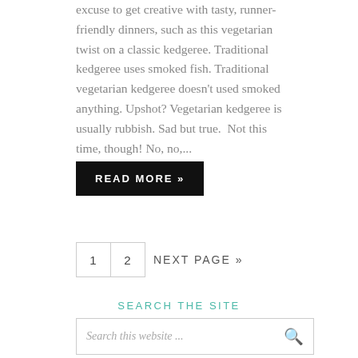excuse to get creative with tasty, runner-friendly dinners, such as this vegetarian twist on a classic kedgeree. Traditional kedgeree uses smoked fish. Traditional vegetarian kedgeree doesn't used smoked anything. Upshot? Vegetarian kedgeree is usually rubbish. Sad but true.  Not this time, though! No, no,...
READ MORE »
1  2  NEXT PAGE »
SEARCH THE SITE
Search this website ...
[Figure (photo): Two women (one with dark hair, one with blonde hair) photographed outdoors against a stone wall background.]